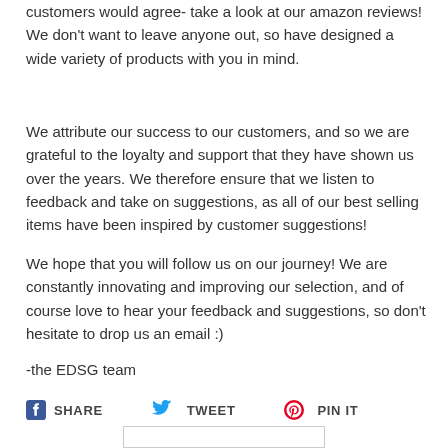customers would agree- take a look at our amazon reviews! We don't want to leave anyone out, so have designed a wide variety of products with you in mind.
We attribute our success to our customers, and so we are grateful to the loyalty and support that they have shown us over the years. We therefore ensure that we listen to feedback and take on suggestions, as all of our best selling items have been inspired by customer suggestions!
We hope that you will follow us on our journey! We are constantly innovating and improving our selection, and of course love to hear your feedback and suggestions, so don't hesitate to drop us an email :)
-the EDSG team
[Figure (infographic): Social sharing buttons: Facebook Share, Twitter Tweet, Pinterest Pin It]